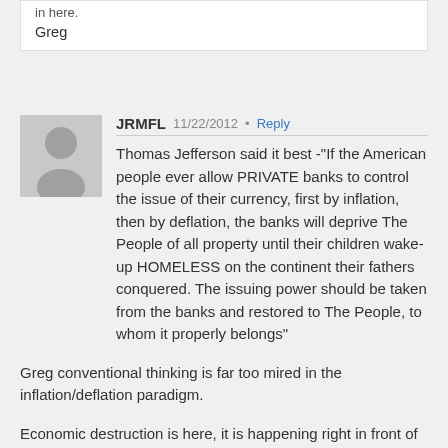in here.
Greg
JRMFL  11/22/2012 • Reply
Thomas Jefferson said it best -"If the American people ever allow PRIVATE banks to control the issue of their currency, first by inflation, then by deflation, the banks will deprive The People of all property until their children wake-up HOMELESS on the continent their fathers conquered. The issuing power should be taken from the banks and restored to The People, to whom it properly belongs"
Greg conventional thinking is far too mired in the inflation/deflation paradigm.
Economic destruction is here, it is happening right in front of us.